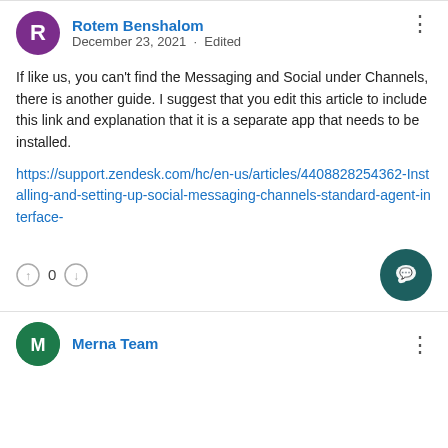Rotem Benshalom
December 23, 2021 · Edited
If like us, you can't find the Messaging and Social under Channels, there is another guide. I suggest that you edit this article to include this link and explanation that it is a separate app that needs to be installed.
https://support.zendesk.com/hc/en-us/articles/4408828254362-Installing-and-setting-up-social-messaging-channels-standard-agent-interface-
Merna Team